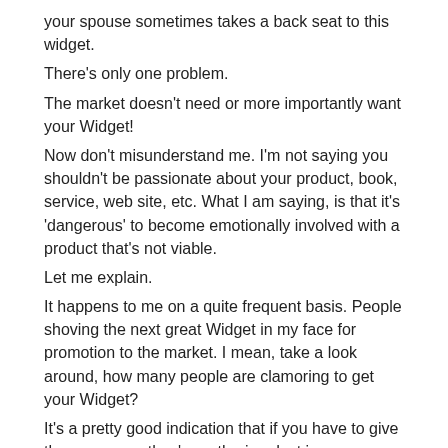your spouse sometimes takes a back seat to this widget.
There's only one problem.
The market doesn't need or more importantly want your Widget!
Now don't misunderstand me. I'm not saying you shouldn't be passionate about your product, book, service, web site, etc. What I am saying, is that it's 'dangerous' to become emotionally involved with a product that's not viable.
Let me explain.
It happens to me on a quite frequent basis. People shoving the next great Widget in my face for promotion to the market. I mean, take a look around, how many people are clamoring to get your Widget?
It's a pretty good indication that if you have to give them away, or they're gathering dust in your garage, you need to change your plans.
Now, I'm not saying that the reason it's just sitting in your garage is because no one wants it. It could be failed marketing strategies,